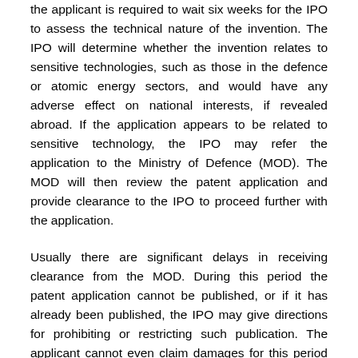the applicant is required to wait six weeks for the IPO to assess the technical nature of the invention. The IPO will determine whether the invention relates to sensitive technologies, such as those in the defence or atomic energy sectors, and would have any adverse effect on national interests, if revealed abroad. If the application appears to be related to sensitive technology, the IPO may refer the application to the Ministry of Defence (MOD). The MOD will then review the patent application and provide clearance to the IPO to proceed further with the application.
Usually there are significant delays in receiving clearance from the MOD. During this period the patent application cannot be published, or if it has already been published, the IPO may give directions for prohibiting or restricting such publication. The applicant cannot even claim damages for this period even if the patent is eventually granted.The annual reports of the IPO between 2015 and 2018 show that it received 13,546 FFL applications. Of these, 12,823 were granted while 387 were referred to the MOD. Of those referrals, 315 were granted, two